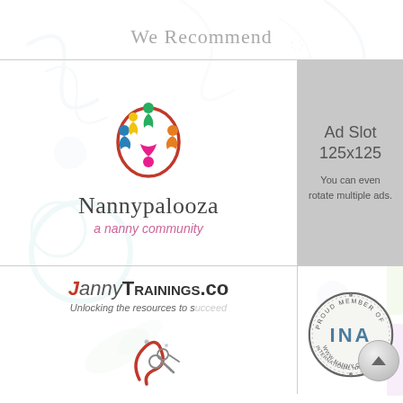We Recommend
[Figure (logo): Nannypalooza logo — colorful figures in a circle with text 'Nannypalooza' and tagline 'a nanny community']
[Figure (infographic): Ad slot placeholder box — grey background, text 'Ad Slot 125x125 You can even rotate multiple ads.']
[Figure (logo): NannyTrainings.com logo with tagline 'Unlocking the resources to s...' partially visible]
[Figure (logo): INA (International Nanny Association) Proud Member seal — circular badge with 'INA' and 'www.nanny.org']